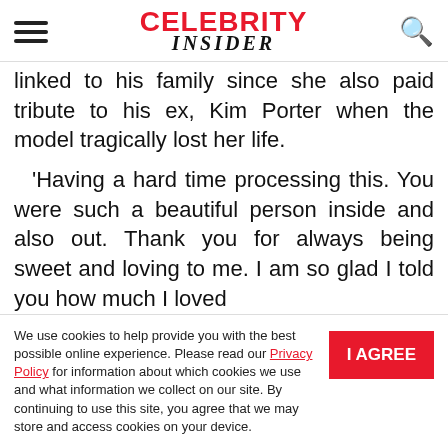CELEBRITY INSIDER
linked to his family since she also paid tribute to his ex, Kim Porter when the model tragically lost her life.
'Having a hard time processing this. You were such a beautiful person inside and also out. Thank you for always being sweet and loving to me. I am so glad I told you how much I loved
We use cookies to help provide you with the best possible online experience. Please read our Privacy Policy for information about which cookies we use and what information we collect on our site. By continuing to use this site, you agree that we may store and access cookies on your device.